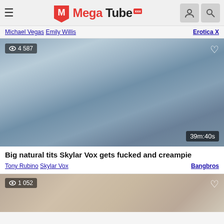[Figure (logo): MegaTube XXX logo with hamburger menu, user icon and search icon in header]
Michael Vegas  Emily Willis	Erotica X
[Figure (photo): Video thumbnail showing adult content, view count 4 587, duration 39m:40s]
Big natural tits Skylar Vox gets fucked and creampie
Tony Rubino  Skylar Vox	Bangbros
[Figure (photo): Partial video thumbnail showing view count 1 052]